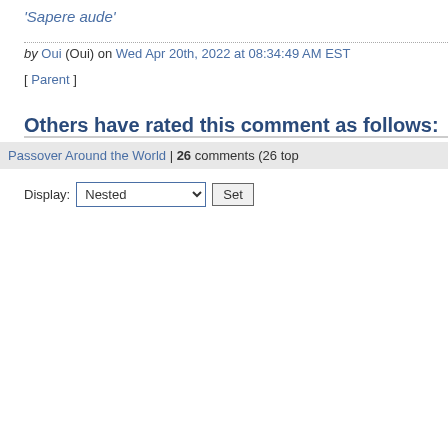'Sapere aude'
by Oui (Oui) on Wed Apr 20th, 2022 at 08:34:49 AM EST
[ Parent ]
Others have rated this comment as follows:
Passover Around the World | 26 comments (26 top
Display: Nested Set